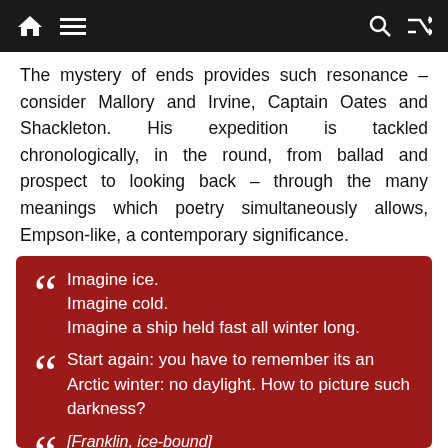Navigation header with home, menu, search, and shuffle icons
The mystery of ends provides such resonance – consider Mallory and Irvine, Captain Oates and Shackleton. His expedition is tackled chronologically, in the round, from ballad and prospect to looking back – through the many meanings which poetry simultaneously allows, Empson-like, a contemporary significance.
Imagine ice.
Imagine cold.
Imagine a ship held fast all winter long.

Start again: you have to remember its an Arctic winter: no daylight. How to picture such darkness?

[Franklin, ice-bound]